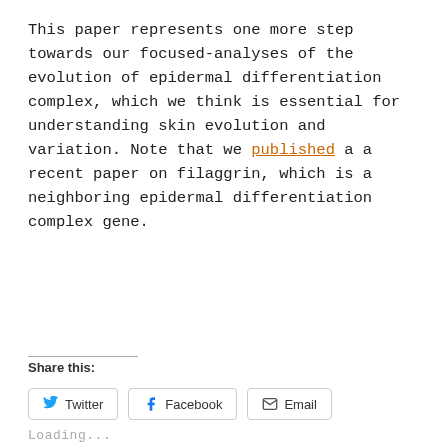This paper represents one more step towards our focused-analyses of the evolution of epidermal differentiation complex, which we think is essential for understanding skin evolution and variation. Note that we published a a recent paper on filaggrin, which is a neighboring epidermal differentiation complex gene.
Share this:
Twitter  Facebook  Email
Loading...